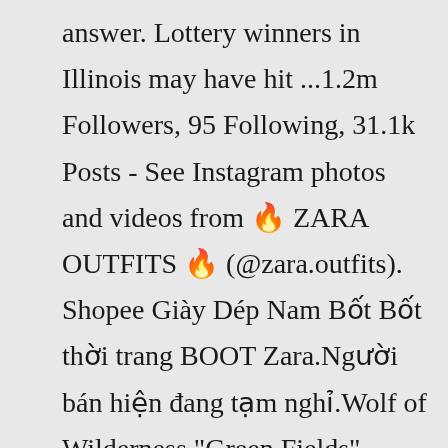answer. Lottery winners in Illinois may have hit ...1.2m Followers, 95 Following, 31.1k Posts - See Instagram photos and videos from 🔥 ZARA OUTFITS 🔥 (@zara.outfits). Shopee Giày Dép Nam Bốt Bốt thời trang BOOT Zara.Người bán hiện đang tạm nghỉ.Wolf of Wilderness "Green Fields" zeichnet sich aus durch: Orientiert an den Ernährungsgewohnheiten des Wolfs in der Wildnis: für Hunde jeder Rasse und